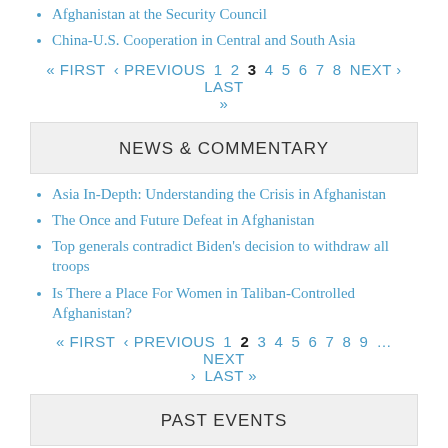Afghanistan at the Security Council
China-U.S. Cooperation in Central and South Asia
« FIRST ‹ PREVIOUS 1 2 3 4 5 6 7 8 NEXT › LAST »
NEWS & COMMENTARY
Asia In-Depth: Understanding the Crisis in Afghanistan
The Once and Future Defeat in Afghanistan
Top generals contradict Biden's decision to withdraw all troops
Is There a Place For Women in Taliban-Controlled Afghanistan?
« FIRST ‹ PREVIOUS 1 2 3 4 5 6 7 8 9 … NEXT › LAST »
PAST EVENTS